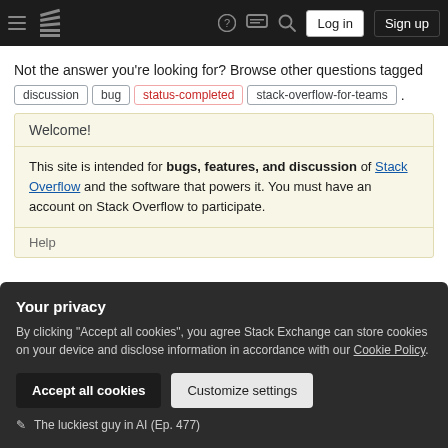Stack Overflow navigation bar with Log in and Sign up buttons
Not the answer you're looking for? Browse other questions tagged discussion bug status-completed stack-overflow-for-teams .
Welcome!
This site is intended for bugs, features, and discussion of Stack Overflow and the software that powers it. You must have an account on Stack Overflow to participate.
Help
Your privacy
By clicking "Accept all cookies", you agree Stack Exchange can store cookies on your device and disclose information in accordance with our Cookie Policy.
Accept all cookies   Customize settings
The luckiest guy in AI (Ep. 477)